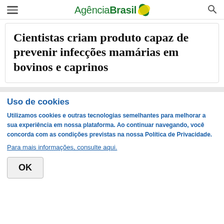AgênciaBrasil
Cientistas criam produto capaz de prevenir infecções mamárias em bovinos e caprinos
Uso de cookies
Utilizamos cookies e outras tecnologias semelhantes para melhorar a sua experiência em nossa plataforma. Ao continuar navegando, você concorda com as condições previstas na nossa Política de Privacidade.
Para mais informações, consulte aqui.
OK